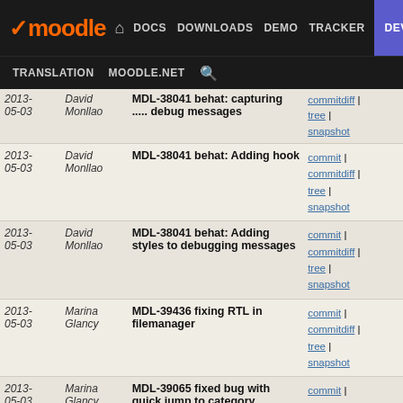Moodle DOCS DOWNLOADS DEMO TRACKER DEV
TRANSLATION MOODLE.NET
| Date | Author | Message | Links |
| --- | --- | --- | --- |
| 2013-05-03 | David Monllao | MDL-38041 behat: Adding hook | commit | commitdiff | tree | snapshot |
| 2013-05-03 | David Monllao | MDL-38041 behat: Adding styles to debugging messages | commit | commitdiff | tree | snapshot |
| 2013-05-03 | Marina Glancy | MDL-39436 fixing RTL in filemanager | commit | commitdiff | tree | snapshot |
| 2013-05-03 | Marina Glancy | MDL-39065 fixed bug with quick jump to category | commit | commitdiff | tree | snapshot |
| 2013-05-03 | Marina Glancy | MDL-38594 Core themes changed for the new course listin... | commit | commitdiff | tree | snapshot |
| 2013-05-03 | Marina Glancy | MDL-39318 CSS bug on mouse hover of paging bar in some... | commit | commitdiff | tree | snapshot |
| 2013-05-02 | Tim Hunt | MDL-39412 question behaviours: hide manual graded option | commit | commitdiff | tree | snapshot |